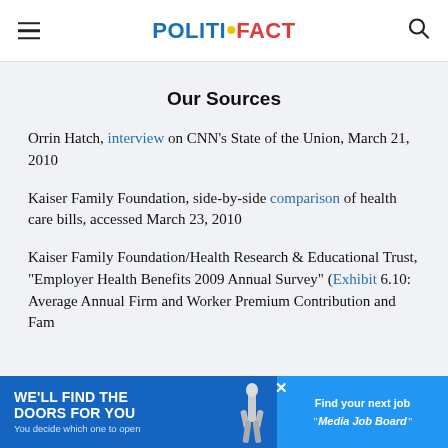POLITIFACT
Our Sources
Orrin Hatch, interview on CNN's State of the Union, March 21, 2010
Kaiser Family Foundation, side-by-side comparison of health care bills, accessed March 23, 2010
Kaiser Family Foundation/Health Research & Educational Trust, "Employer Health Benefits 2009 Annual Survey" (Exhibit 6.10: Average Annual Firm and Worker Premium Contributi... and Fam...